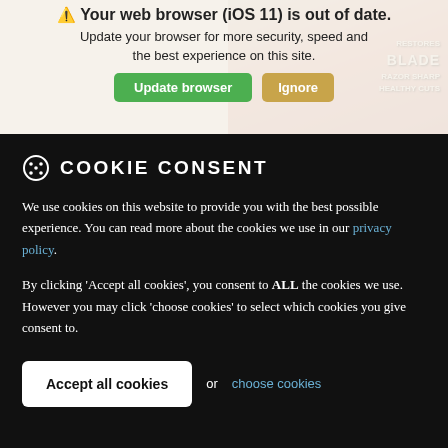Your web browser (iOS 11) is out of date. Update your browser for more security, speed and the best experience on this site.
[Figure (screenshot): Browser update notification bar with 'Update browser' green button and 'Ignore' yellow-brown button, overlaid on a product image background.]
COOKIE CONSENT
We use cookies on this website to provide you with the best possible experience. You can read more about the cookies we use in our privacy policy.
By clicking 'Accept all cookies', you consent to ALL the cookies we use. However you may click 'choose cookies' to select which cookies you give consent to.
Accept all cookies or choose cookies